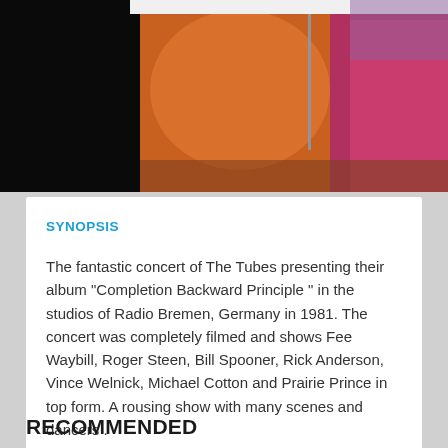[Figure (photo): Concert photo showing performers on stage with orange and pink stage lighting, a microphone stand visible, performer in pink/red outfit on right side, dark/black area on left side.]
SYNOPSIS
The fantastic concert of The Tubes presenting their album "Completion Backward Principle " in the studios of Radio Bremen, Germany in 1981. The concert was completely filmed and shows Fee Waybill, Roger Steen, Bill Spooner, Rick Anderson, Vince Welnick, Michael Cotton and Prairie Prince in top form. A rousing show with many scenes and dancers .
RECOMMENDED